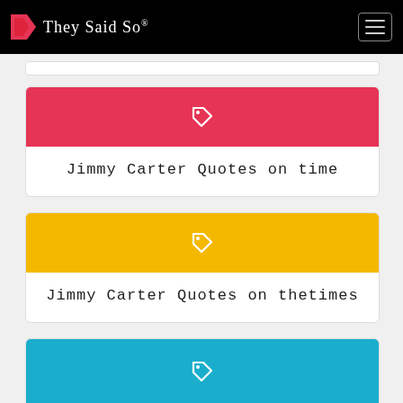They Said So®
[Figure (other): Card with red header and tag icon]
Jimmy Carter Quotes on time
[Figure (other): Card with yellow header and tag icon]
Jimmy Carter Quotes on thetimes
[Figure (other): Card with teal header and tag icon (partial)]